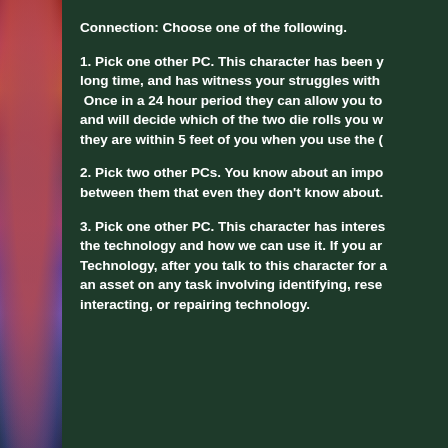[Figure (illustration): Colorful fantasy illustration on the left side of the page — appears to show a stylized creature or character with vibrant reds, purples, blues, and greens.]
Connection: Choose one of the following.
1. Pick one other PC. This character has been y... long time, and has witness your struggles with... Once in a 24 hour period they can allow you to... and will decide which of the two die rolls you w... they are within 5 feet of you when you use the (
2. Pick two other PCs. You know about an impo... between them that even they don't know about.
3. Pick one other PC. This character has interes... the technology and how we can use it. If you ar... Technology, after you talk to this character for a... an asset on any task involving identifying, rese... interacting, or repairing technology.